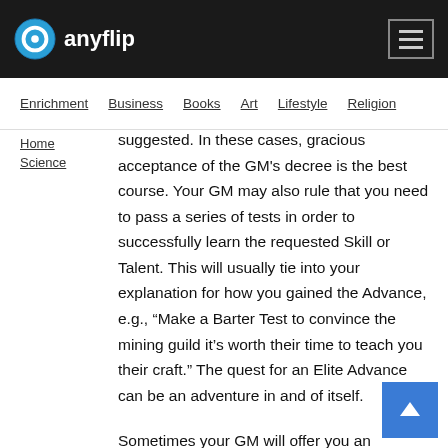anyflip
Enrichment | Business | Books | Art | Lifestyle | Religion
suggested. In these cases, gracious acceptance of the GM's decree is the best course. Your GM may also rule that you need to pass a series of tests in order to successfully learn the requested Skill or Talent. This will usually tie into your explanation for how you gained the Advance, e.g., “Make a Barter Test to convince the mining guild it’s worth their time to teach you their craft.” The quest for an Elite Advance can be an adventure in and of itself.
Sometimes your GM will offer you an opportunity to take an Elite Advance as part of the reward for completing an adventure. For example, you may have encountered a strange xenos race while on your endeavours. Having defeated this race, your GM might offer you the chance to purchase